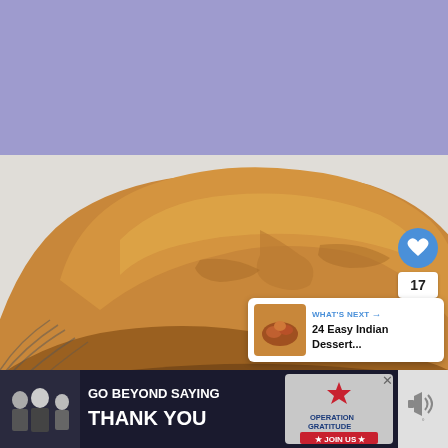[Figure (photo): Close-up photo of a golden-brown round loaf of bread on a dark rimmed plate, against a purple/lavender background. The bread has a rustic cracked top surface.]
[Figure (infographic): UI overlay elements: heart/like button (blue circle with heart icon), count badge showing '17', share button (white circle with share icon)]
[Figure (infographic): What's Next panel with thumbnail image of Indian dessert and text 'WHAT'S NEXT → 24 Easy Indian Dessert...']
[Figure (infographic): Advertisement banner at bottom: 'GO BEYOND SAYING THANK YOU' with Operation Gratitude logo and JOIN US call to action, with X close button]